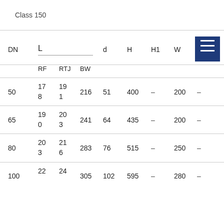Class 150
| DN | L RF | L RTJ | L BW | d | H | H1 | W |  |
| --- | --- | --- | --- | --- | --- | --- | --- | --- |
| 50 | 178 | 191 | 216 | 51 | 400 | – | 200 | – |
| 65 | 190 | 203 | 241 | 64 | 435 | – | 200 | – |
| 80 | 203 | 216 | 283 | 76 | 515 | – | 250 | – |
| 100 | 22... | 24... | 305 | 102 | 595 | – | 280 | – |